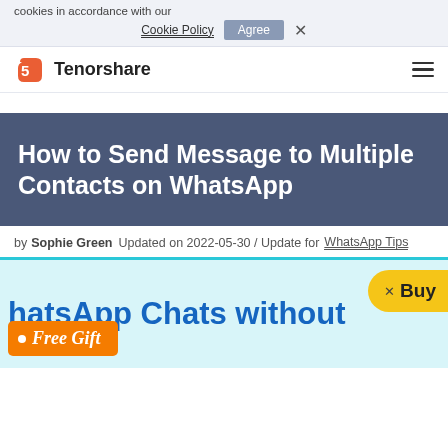cookies in accordance with our
Cookie Policy  Agree  X
Tenorshare
How to Send Message to Multiple Contacts on WhatsApp
by Sophie Green  Updated on 2022-05-30 / Update for  WhatsApp Tips
[Figure (other): Advertisement banner with text 'hatsApp Chats without', a 'Free Gift' orange tag, and a 'Buy' yellow button]